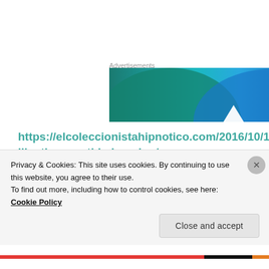Advertisements
[Figure (illustration): Advertisement banner with teal and blue gradient background with overlapping semicircle shapes and a white triangle]
https://elcoleccionistahipnotico.com/2016/10/15/i-like-the-way-this-is-going/
[Figure (photo): Dark stormy sky with lightning bolts, gothic spires, and a bird silhouette]
Privacy & Cookies: This site uses cookies. By continuing to use this website, you agree to their use.
To find out more, including how to control cookies, see here: Cookie Policy
Close and accept